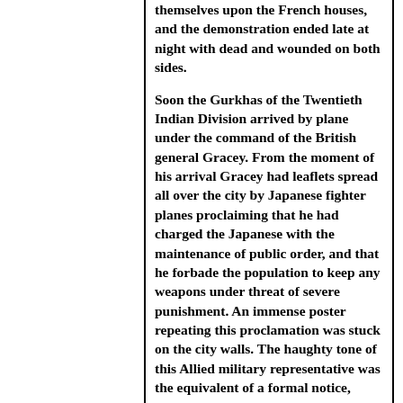themselves upon the French houses, and the demonstration ended late at night with dead and wounded on both sides.
Soon the Gurkhas of the Twentieth Indian Division arrived by plane under the command of the British general Gracey. From the moment of his arrival Gracey had leaflets spread all over the city by Japanese fighter planes proclaiming that he had charged the Japanese with the maintenance of public order, and that he forbade the population to keep any weapons under threat of severe punishment. An immense poster repeating this proclamation was stuck on the city walls. The haughty tone of this Allied military representative was the equivalent of a formal notice, addressed not only to the armed groups of the religious sects who had held onto quantities of Japanese weapons, but also to the Nam-bó Committee, whose armed militia was more or less held responsible for the 'disorders' of 2 September.